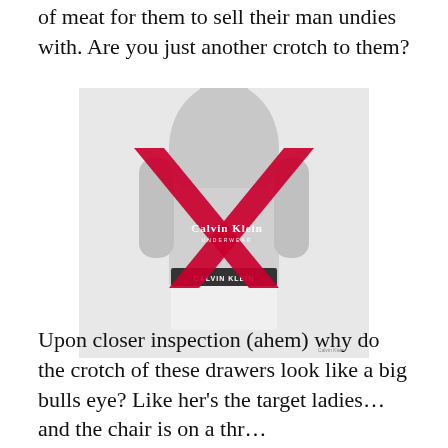of meat for them to sell their man undies with. Are you just another crotch to them?
[Figure (photo): Black and white Calvin Klein underwear advertisement photo of a male model wearing white Calvin Klein boxer briefs, shirtless, with a large red X overlaid across the torso/middle of the image. The Calvin Klein logo is visible on the waistband and in the center of the image.]
Upon closer inspection (ahem) why do the crotch of these drawers look like a big bulls eye? Like her's the target ladies…and the chair is on a thr…